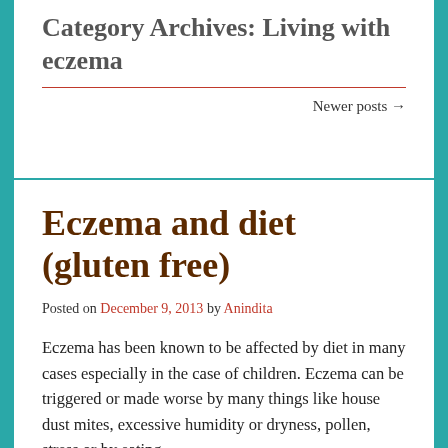Category Archives: Living with eczema
Newer posts →
Eczema and diet (gluten free)
Posted on December 9, 2013 by Anindita
Eczema has been known to be affected by diet in many cases especially in the case of children. Eczema can be triggered or made worse by many things like house dust mites, excessive humidity or dryness, pollen, stress or by eating